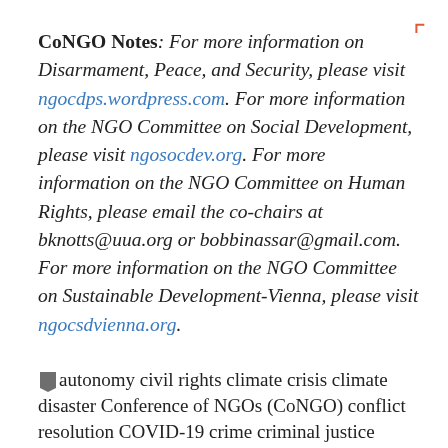CoNGO Notes: For more information on Disarmament, Peace, and Security, please visit ngocdps.wordpress.com. For more information on the NGO Committee on Social Development, please visit ngosocdev.org. For more information on the NGO Committee on Human Rights, please email the co-chairs at bknotts@uua.org or bobbinassar@gmail.com. For more information on the NGO Committee on Sustainable Development-Vienna, please visit ngocsdvienna.org.
autonomy civil rights climate crisis climate disaster Conference of NGOs (CoNGO) conflict resolution COVID-19 crime criminal justice